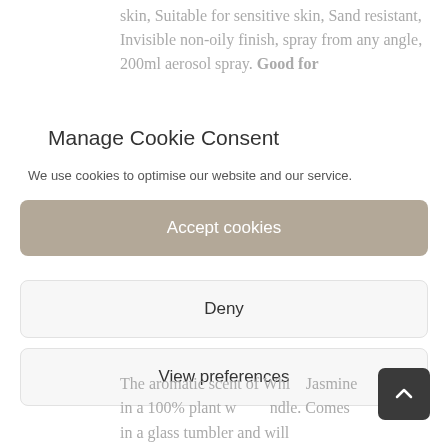skin, Suitable for sensitive skin, Sand resistant, Invisible non-oily finish, spray from any angle, 200ml aerosol spray. Good for
Manage Cookie Consent
We use cookies to optimise our website and our service.
Accept cookies
Deny
View preferences
The aromatic scent of White Jasmine in a 100% plant wax candle. Comes in a glass tumbler and will